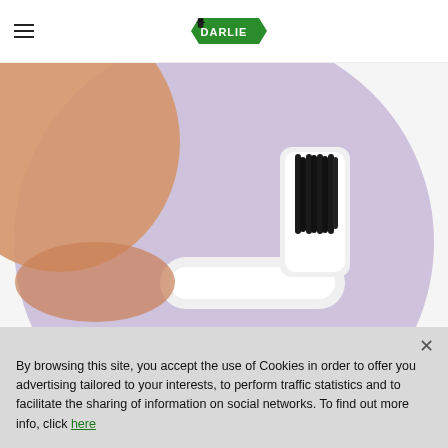≡ DARLIE
[Figure (photo): Close-up photo of a toothbrush with dark/black bristles on a purple/lavender circular background, held by a hand. Creative product visualisation for Darlie toothbrush.]
Creative visualisation.
By browsing this site, you accept the use of Cookies in order to offer you advertising tailored to your interests, to perform traffic statistics and to facilitate the sharing of information on social networks. To find out more info, click here